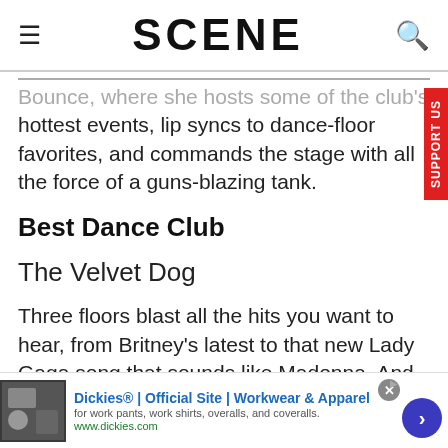SCENE
…hottest events, lip syncs to dance-floor favorites, and commands the stage with all the force of a guns-blazing tank.
Best Dance Club
The Velvet Dog
Three floors blast all the hits you want to hear, from Britney's latest to that new Lady Gaga song that sounds like Madonna. And the DJs keep the flow moving all night long. And since it's located…
[Figure (screenshot): Advertisement banner for Dickies Official Site - Workwear & Apparel]